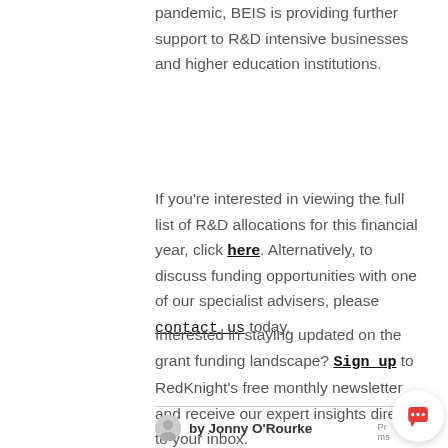pandemic, BEIS is providing further support to R&D intensive businesses and higher education institutions.
If you're interested in viewing the full list of R&D allocations for this financial year, click here. Alternatively, to discuss funding opportunities with one of our specialist advisers, please contact us today.
Interested in staying updated on the grant funding landscape? Sign up to RedKnight's free monthly newsletter and receive our expert insights direct to your inbox.
by Jonny O'Rourke